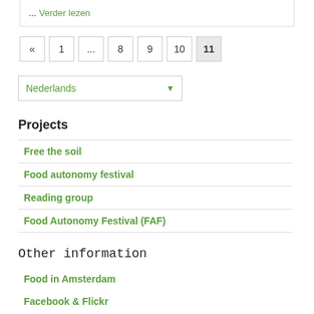... Verder lezen
« 1 ... 8 9 10 11
Nederlands
Projects
Free the soil
Food autonomy festival
Reading group
Food Autonomy Festival (FAF)
Other information
Food in Amsterdam
Facebook & Flickr